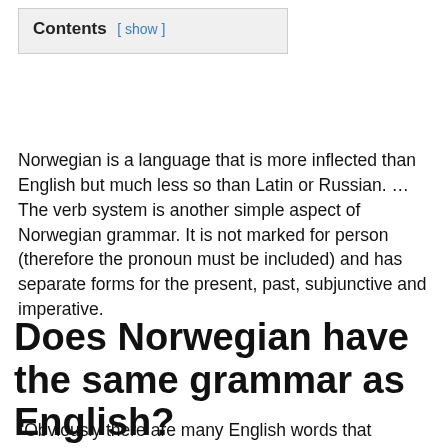Contents [ show ]
Norwegian is a language that is more inflected than English but much less so than Latin or Russian. … The verb system is another simple aspect of Norwegian grammar. It is not marked for person (therefore the pronoun must be included) and has separate forms for the present, past, subjunctive and imperative.
Does Norwegian have the same grammar as English?
“Obviously there are many English words that resemble ours. But there is something